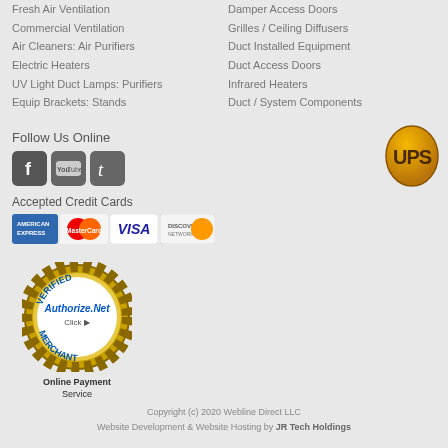Fresh Air Ventilation
Commercial Ventilation
Air Cleaners: Air Purifiers
Electric Heaters
UV Light Duct Lamps: Purifiers
Equip Brackets: Stands
Damper Access Doors
Grilles / Ceiling Diffusers
Duct Installed Equipment
Duct Access Doors
Infrared Heaters
Duct / System Components
Follow Us Online
[Figure (logo): Facebook, YouTube, Twitter social media icons]
[Figure (logo): UPS shipping logo]
Accepted Credit Cards
[Figure (logo): American Express, MasterCard, Visa, Discover credit card logos]
[Figure (logo): Authorize.Net Verified Merchant seal]
Online Payment Service
Copyright (c) 2020 Webline Direct LLC
Website Development & Website Hosting by JR Tech Holdings